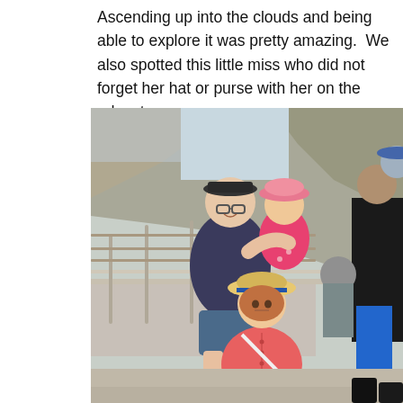Ascending up into the clouds and being able to explore it was pretty amazing. We also spotted this little miss who did not forget her hat or purse with her on the adventure.
[Figure (photo): A woman holding a toddler wearing a pink hat and jacket stands on a mountain viewing platform with metal railings and rocky cliffs in the background. A young girl in a pink dress and straw hat with a white crossbody purse stands in front. Other tourists are visible on the right side.]